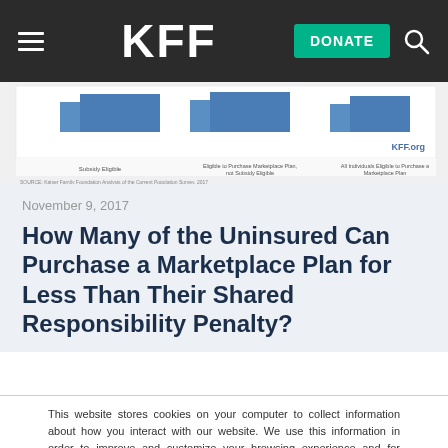KFF | DONATE
[Figure (screenshot): Partial view of a bar chart from KFF.org showing data about Marketplace plans and subsidy eligibility]
November 9, 2017
How Many of the Uninsured Can Purchase a Marketplace Plan for Less Than Their Shared Responsibility Penalty?
This website stores cookies on your computer to collect information about how you interact with our website. We use this information in order to improve and customize your browsing experience and for analytics and metrics about our visitors both on this website and other media. To find out more about the cookies we use, see our Privacy Policy.
Accept